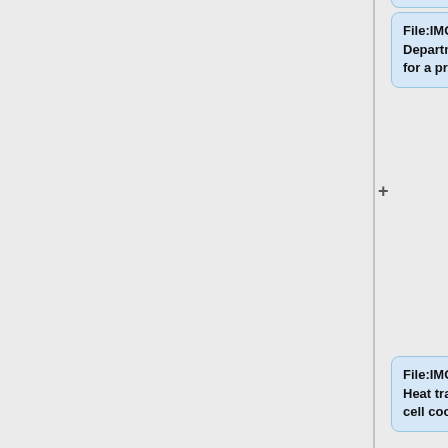File:IMG_1566.JPG|Theater Department - Laser cut cloth flowers for a production
File:IMG_1556a.jpg|Chase Schober - Heat transfer test prototype for solar cell cooling
File:Marco_board_game.jpg|Marco Mirnics - New board game
File:Brown_test tube.jpg|Theod...